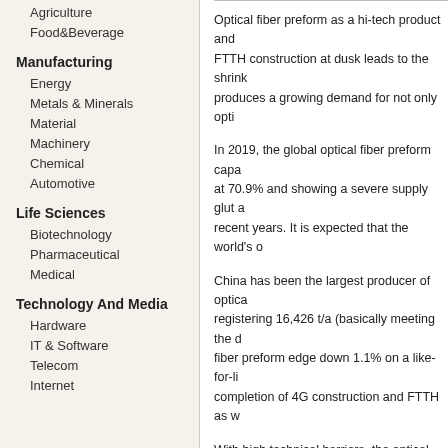Agriculture
Food&Beverage
Manufacturing
Energy
Metals & Minerals
Material
Machinery
Chemical
Automotive
Life Sciences
Biotechnology
Pharmaceutical
Medical
Technology And Media
Hardware
IT & Software
Telecom
Internet
Optical fiber preform as a hi-tech product and... FTTH construction at dusk leads to the shrink... produces a growing demand for not only opti...
In 2019, the global optical fiber preform capa... at 70.9% and showing a severe supply glut a... recent years. It is expected that the world's o...
China has been the largest producer of optica... registering 16,426 t/a (basically meeting the d... fiber preform edge down 1.1% on a like-for-li... completion of 4G construction and FTTH as w...
With high technical barriers, the optical fiber p... Prysmian, Japanese players Sumitomo Elect... Cable Joint Stock Co., Ltd. (YOFC), Hengton... a combined 58.2% share by capacity, of whic...